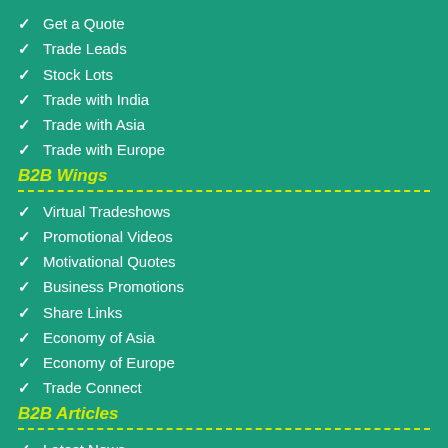Get a Quote
Trade Leads
Stock Lots
Trade with India
Trade with Asia
Trade with Europe
B2B Wings
Virtual Tradeshows
Promotional Videos
Motivational Quotes
Business Promotions
Share Links
Economy of Asia
Economy of Europe
Trade Connect
B2B Articles
Latest News